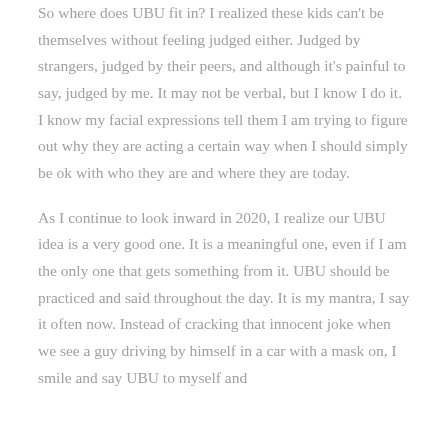So where does UBU fit in? I realized these kids can't be themselves without feeling judged either. Judged by strangers, judged by their peers, and although it's painful to say, judged by me. It may not be verbal, but I know I do it. I know my facial expressions tell them I am trying to figure out why they are acting a certain way when I should simply be ok with who they are and where they are today.
As I continue to look inward in 2020, I realize our UBU idea is a very good one. It is a meaningful one, even if I am the only one that gets something from it. UBU should be practiced and said throughout the day. It is my mantra, I say it often now. Instead of cracking that innocent joke when we see a guy driving by himself in a car with a mask on, I smile and say UBU to myself and